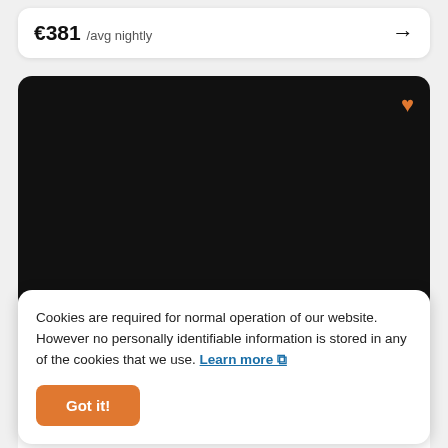€381 /avg nightly →
[Figure (photo): Dark/black image placeholder for a listing photo with an orange heart icon in the top right corner]
Cookies are required for normal operation of our website. However no personally identifiable information is stored in any of the cookies that we use. Learn more ↗
Got it!
day. The living room is clearly special from the moment